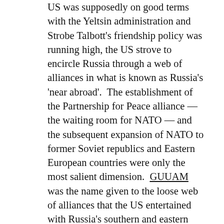US was supposedly on good terms with the Yeltsin administration and Strobe Talbott's friendship policy was running high, the US strove to encircle Russia through a web of alliances in what is known as Russia's 'near abroad'.  The establishment of the Partnership for Peace alliance — the waiting room for NATO — and the subsequent expansion of NATO to former Soviet republics and Eastern European countries were only the most salient dimension.  GUUAM was the name given to the loose web of alliances that the US entertained with Russia's southern and eastern neighbors, Georgia, the Ukraine, Uzbekistan (no longer part of the web), Azerbaijan and Moldova.  The Afghanistan war, notwithstanding the rhetoric of the 'war on terror', was devised to penetrate former Soviet Central Asia, where thanks to the war the US established, for the first time in modern history for a Western power, military bases.
  Putin's acquiescence to Bush's post-9/11 policies with the aim of covering up his own dirty war in Chechnya was as stupid as Stalin's reliance on the Molotov-Ribbentrop pact in order to protect the Soviet Union